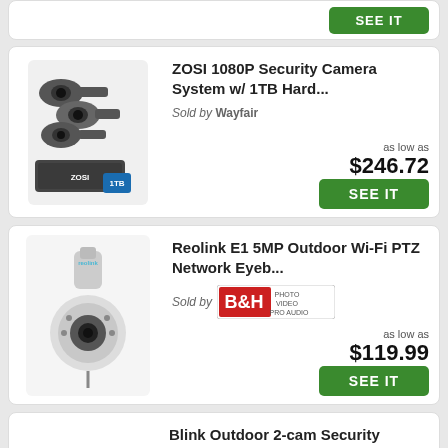[Figure (screenshot): Top partial card with green SEE IT button visible at top of page]
[Figure (photo): ZOSI security camera system with 4 cameras and DVR with 1TB hard drive]
ZOSI 1080P Security Camera System w/ 1TB Hard...
Sold by Wayfair
as low as $246.72
[Figure (photo): Reolink E1 5MP Outdoor Wi-Fi PTZ Network Eyeball camera]
Reolink E1 5MP Outdoor Wi-Fi PTZ Network Eyeb...
Sold by B&H Photo Video Pro Audio
as low as $119.99
Blink Outdoor 2-cam Security Camera System, B...